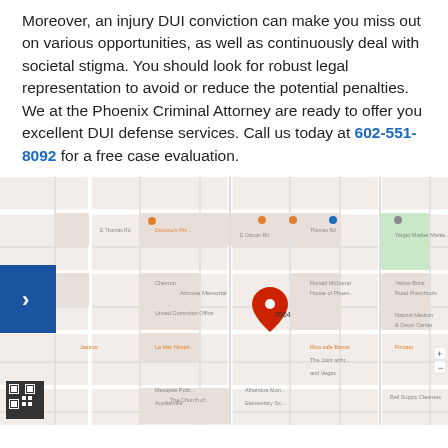Moreover, an injury DUI conviction can make you miss out on various opportunities, as well as continuously deal with societal stigma. You should look for robust legal representation to avoid or reduce the potential penalties. We at the Phoenix Criminal Attorney are ready to offer you excellent DUI defense services. Call us today at 602-551-8092 for a free case evaluation.
[Figure (map): Google Maps screenshot showing a street map of Phoenix, AZ area with a red location pin marker in the center, navigation arrow on the left, and a QR code in the bottom left corner.]
Contact Us Today